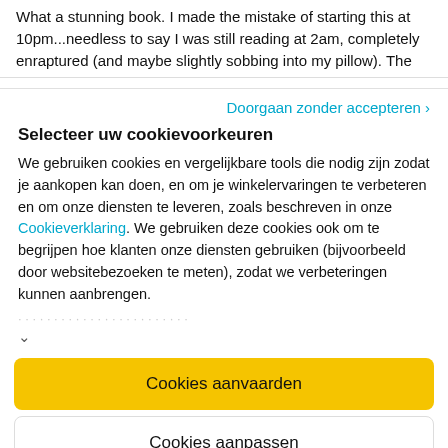What a stunning book. I made the mistake of starting this at 10pm...needless to say I was still reading at 2am, completely enraptured (and maybe slightly sobbing into my pillow). The
Doorgaan zonder accepteren ›
Selecteer uw cookievoorkeuren
We gebruiken cookies en vergelijkbare tools die nodig zijn zodat je aankopen kan doen, en om je winkelervaringen te verbeteren en om onze diensten te leveren, zoals beschreven in onze Cookieverklaring. We gebruiken deze cookies ook om te begrijpen hoe klanten onze diensten gebruiken (bijvoorbeeld door websitebezoeken te meten), zodat we verbeteringen kunnen aanbrengen.
Cookies aanvaarden
Cookies aanpassen